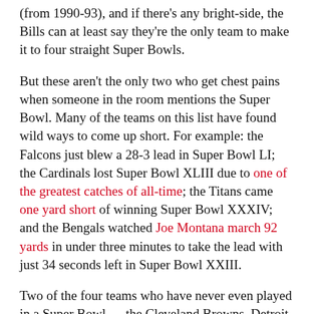(from 1990-93), and if there's any bright-side, the Bills can at least say they're the only team to make it to four straight Super Bowls.
But these aren't the only two who get chest pains when someone in the room mentions the Super Bowl. Many of the teams on this list have found wild ways to come up short. For example: the Falcons just blew a 28-3 lead in Super Bowl LI; the Cardinals lost Super Bowl XLIII due to one of the greatest catches of all-time; the Titans came one yard short of winning Super Bowl XXXIV; and the Bengals watched Joe Montana march 92 yards in under three minutes to take the lead with just 34 seconds left in Super Bowl XXIII.
Two of the four teams who have never even played in a Super Bowl — the Cleveland Browns, Detroit Lions, Jacksonville Jaguars, and Houston Texans — have reasonable excuses: Jacksonville has only had a team since 1995 and the Texans, the most recent expansion team, came into existence in 2002. The Browns can blame John Elway and the Denver